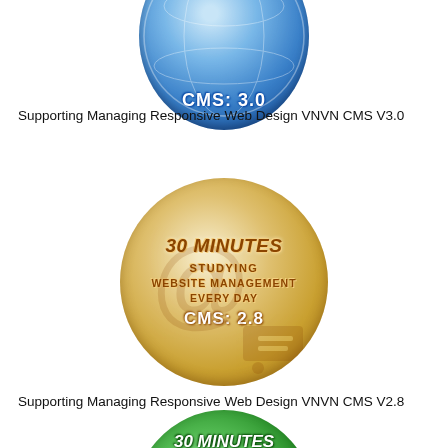[Figure (illustration): Blue circular badge showing CMS: 3.0 text with globe/world imagery, partially cropped at top]
Supporting Managing Responsive Web Design VNVN CMS V3.0
[Figure (illustration): Gold/beige circular badge showing '30 MINUTES STUDYING WEBSITE MANAGEMENT EVERY DAY CMS: 2.8' with shopping cart background imagery]
Supporting Managing Responsive Web Design VNVN CMS V2.8
[Figure (illustration): Green circular badge showing '30 MINUTES' text, partially cropped at bottom of page]